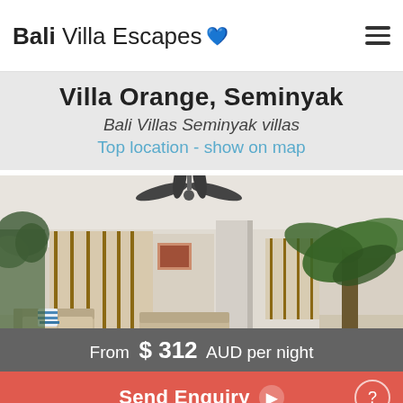Bali Villa Escapes
Villa Orange, Seminyak
Bali Villas Seminyak villas
Top location - show on map
[Figure (photo): Outdoor terrace of Villa Orange, Seminyak: modern Balinese villa showing open living area with ceiling fan, teak folding doors, beige sofas, blue-striped cushions, wooden coffee table, large column, and tropical palm trees in the garden.]
From $ 312 AUD per night
Send Enquiry